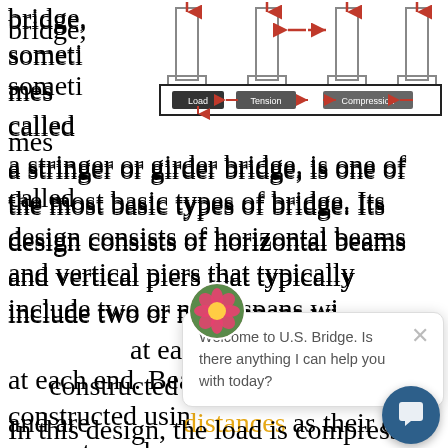[Figure (engineering-diagram): Diagram of a beam bridge showing vertical piers with downward load arrows, horizontal beam with tension (outward arrows) and compression (inward arrows) labels in dark boxes.]
bridge, sometimes called a stringer or girder bridge, is one of the most basic types of bridge. Its design consists of horizontal beams and vertical piers that typically include two or more spans with abutments at each end. Beam bridges are constructed using steel or concrete and are limited distances as their only support is from piers.
[Figure (screenshot): Chat popup with flower avatar showing message: Welcome to U.S. Bridge. Is there anything I can help you with today? with an X close button and a dark blue circular chat button in the bottom right.]
In this design, the load is compressed